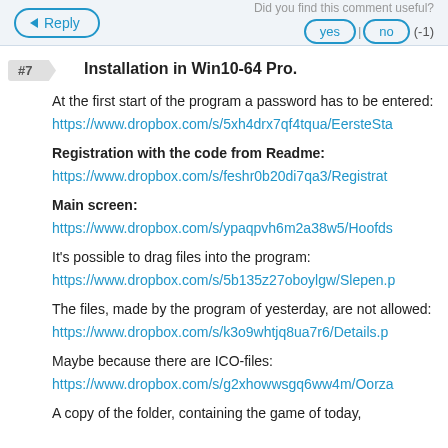Reply | Did you find this comment useful? yes | no (-1)
#7   Installation in Win10-64 Pro.
At the first start of the program a password has to be entered:
https://www.dropbox.com/s/5xh4drx7qf4tqua/EersteSta
Registration with the code from Readme:
https://www.dropbox.com/s/feshr0b20di7qa3/Registrat
Main screen:
https://www.dropbox.com/s/ypaqpvh6m2a38w5/Hoofds
It's possible to drag files into the program:
https://www.dropbox.com/s/5b135z27oboylgw/Slepen.p
The files, made by the program of yesterday, are not allowed:
https://www.dropbox.com/s/k3o9whtjq8ua7r6/Details.p
Maybe because there are ICO-files:
https://www.dropbox.com/s/g2xhowwsgq6ww4m/Oorza
A copy of the folder, containing the game of today,